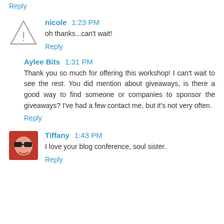Reply
nicole  1:23 PM
oh thanks...can't wait!
Reply
Aylee Bits  1:31 PM
Thank you so much for offering this workshop! I can't wait to see the rest. You did mention about giveaways, is there a good way to find someone or companies to sponsor the giveaways? I've had a few contact me, but it's not very often.
Reply
Tiffany  1:43 PM
I love your blog conference, soul sister.
Reply